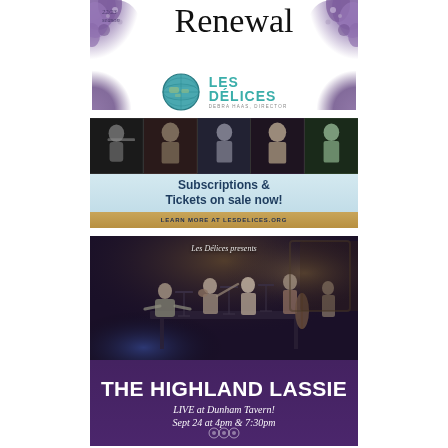[Figure (illustration): Les Délices 22/23 Season Renewal advertisement. Top section shows decorative floral corners in purple/dark tones with cursive 'Renewal' text and '22/23 season' label. Center shows the Les Délices logo (globe) with 'LES DÉLICES' in teal and 'DEBRA HAAS, DIRECTOR' subtitle. Below is a strip of five musician photographs. A light blue gradient banner reads 'Subscriptions & Tickets on sale now!' and a gold banner reads 'LEARN MORE AT LESDELICES.ORG'.]
[Figure (photo): Les Délices presents The Highland Lassie. Photo shows chamber musicians performing on a dimly lit stage with warm accent lighting. Purple/dark lower banner text reads 'Les Délices presents', 'THE HIGHLAND LASSIE' in large white bold text, 'LIVE at Dunham Tavern!' and 'Sept 24 at 4pm & 7:30pm' in italic white text.]